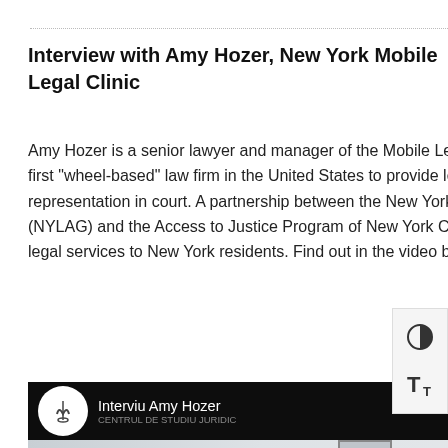Interview with Amy Hozer, New York Mobile Legal Clinic
Amy Hozer is a senior lawyer and manager of the Mobile Legal Help Center (MLHC), the first “wheel-based” law firm in the United States to provide legal advice and representation in court. A partnership between the New York Legal Assistance Group (NYLAG) and the Access to Justice Program of New York Courts, MLHC provides free legal services to New York residents. Find out in the video below.
[Figure (screenshot): YouTube video thumbnail showing 'Interviu Amy Hozer' with a channel logo on the left and a three-dot menu on the right, over a background image of a woman in a white beanie hat in front of a white Mobile Legal Help Center truck with ACCESS JUSTICE and NYLAG branding.]